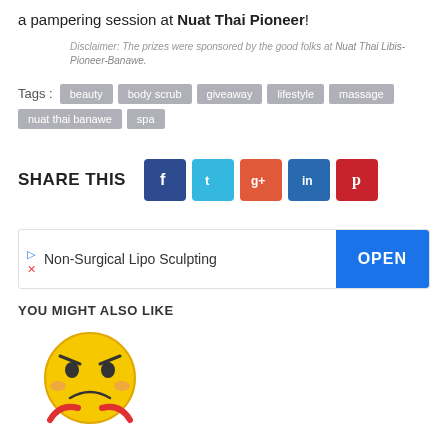a pampering session at Nuat Thai Pioneer!
Disclaimer: The prizes were sponsored by the good folks at Nuat Thai Libis-Pioneer-Banawe.
Tags : beauty  body scrub  giveaway  lifestyle  massage  nuat thai banawe  spa
SHARE THIS
[Figure (other): Social share buttons: Facebook, Twitter, Google+, LinkedIn, Pinterest]
[Figure (other): Advertisement banner: Non-Surgical Lipo Sculpting with OPEN button]
YOU MIGHT ALSO LIKE
[Figure (illustration): Emoji face illustration - angry/crying face character]